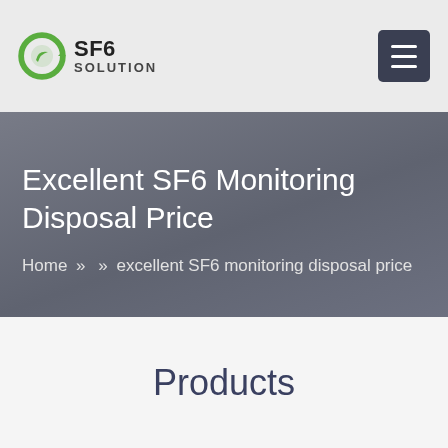SF6 SOLUTION
Excellent SF6 Monitoring Disposal Price
Home » » excellent SF6 monitoring disposal price
Products